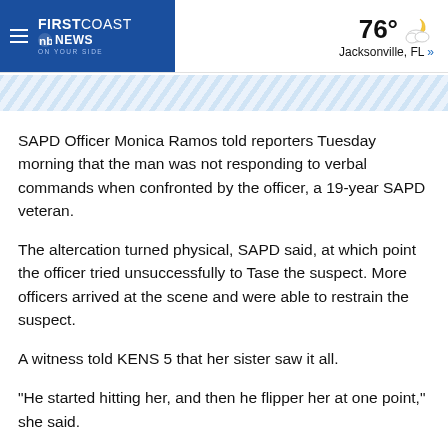FIRST COAST NEWS on your side — 76° Jacksonville, FL »
[Figure (other): Diagonal blue stripe decorative banner]
SAPD Officer Monica Ramos told reporters Tuesday morning that the man was not responding to verbal commands when confronted by the officer, a 19-year SAPD veteran.
The altercation turned physical, SAPD said, at which point the officer tried unsuccessfully to Tase the suspect. More officers arrived at the scene and were able to restrain the suspect.
A witness told KENS 5 that her sister saw it all.
"He started hitting her, and then he flipper her at one point," she said.